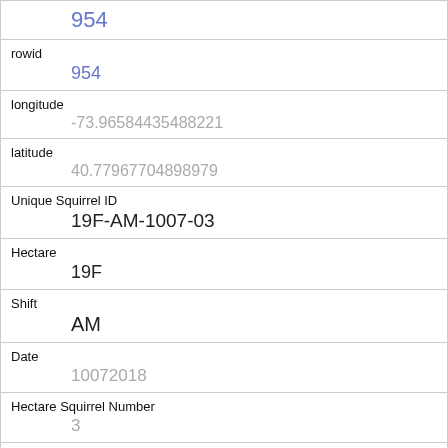| Field | Value |
| --- | --- |
| rowid | 954 |
| longitude | -73.96584435488221 |
| latitude | 40.77967704898979 |
| Unique Squirrel ID | 19F-AM-1007-03 |
| Hectare | 19F |
| Shift | AM |
| Date | 10072018 |
| Hectare Squirrel Number | 3 |
| Age | Juvenile |
| Primary Fur Color | Cinnamon |